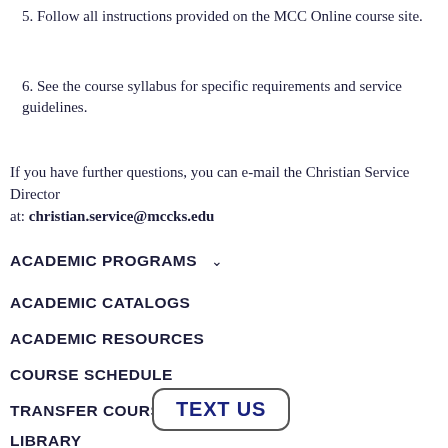5. Follow all instructions provided on the MCC Online course site.
6. See the course syllabus for specific requirements and service guidelines.
If you have further questions, you can e-mail the Christian Service Director at: christian.service@mccks.edu
ACADEMIC PROGRAMS
ACADEMIC CATALOGS
ACADEMIC RESOURCES
COURSE SCHEDULE
TRANSFER COURSES
LIBRARY
[Figure (other): TEXT US button widget with rounded border]